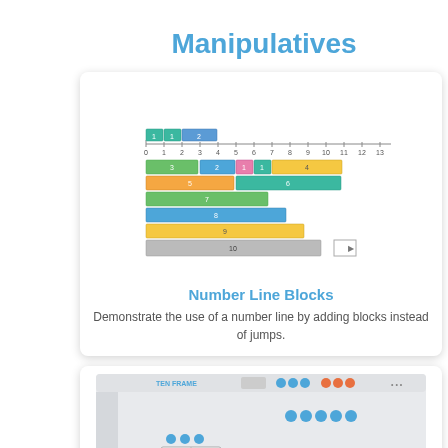Manipulatives
[Figure (illustration): Number Line Blocks interactive tool showing colored bars stacked on a number line from 0 to 13]
Number Line Blocks
Demonstrate the use of a number line by adding blocks instead of jumps.
[Figure (screenshot): Ten Frame interactive tool screenshot showing frames with orange ghost icons]
Ten Frame
An open ended resource that can be used